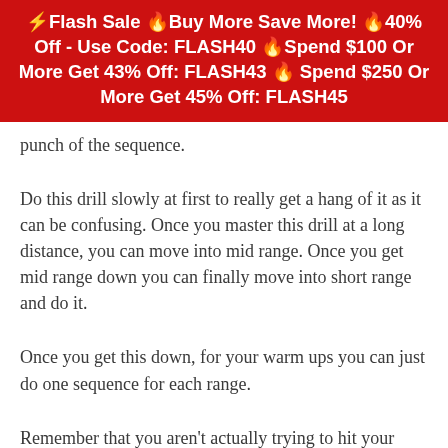⚡Flash Sale 🔥Buy More Save More! 🔥40% Off - Use Code: FLASH40 🔥Spend $100 Or More Get 43% Off: FLASH43 🔥 Spend $250 Or More Get 45% Off: FLASH45
punch of the sequence.
Do this drill slowly at first to really get a hang of it as it can be confusing. Once you master this drill at a long distance, you can move into mid range. Once you get mid range down you can finally move into short range and do it.
Once you get this down, for your warm ups you can just do one sequence for each range.
Remember that you aren't actually trying to hit your partner, this is just a warm up, you can hit each other later.